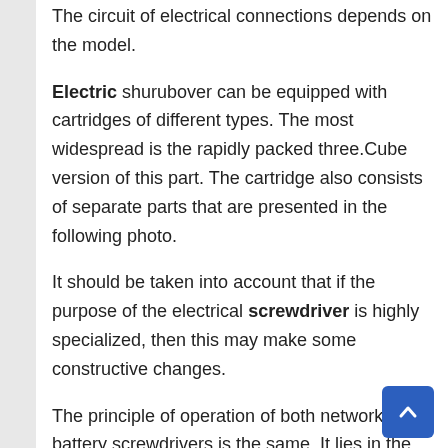The circuit of electrical connections depends on the model.
Electric shurubover can be equipped with cartridges of different types. The most widespread is the rapidly packed three.Cube version of this part. The cartridge also consists of separate parts that are presented in the following photo.
It should be taken into account that if the purpose of the electrical screwdriver is highly specialized, then this may make some constructive changes.
The principle of operation of both network and battery screwdrivers is the same. It lies in the fact that electric energy leads to rotation of the